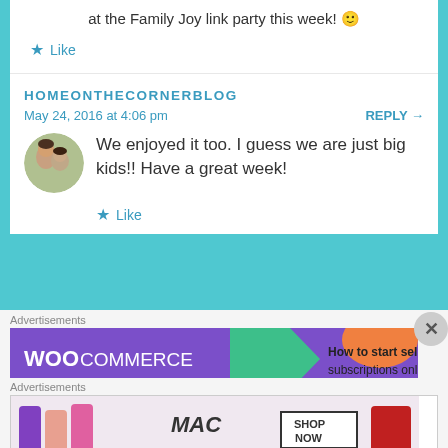at the Family Joy link party this week! 🙂
★ Like
HOMEONTHECORNERBLOG
May 24, 2016 at 4:06 pm
REPLY →
[Figure (photo): Circular avatar photo of two women/girls]
We enjoyed it too. I guess we are just big kids!! Have a great week!
★ Like
Advertisements
[Figure (screenshot): WooCommerce ad banner: purple background with WooCommerce logo, green arrow shape, orange shape, text 'How to start selling subscriptions online']
Advertisements
[Figure (screenshot): MAC cosmetics ad banner with lipsticks and SHOP NOW box]